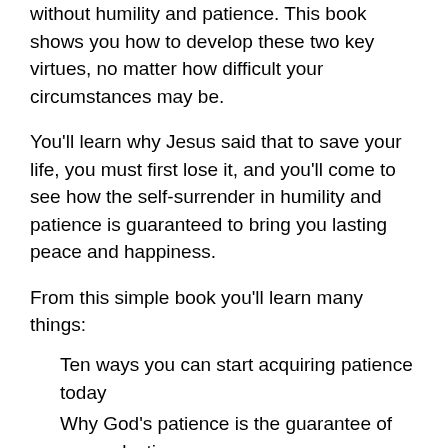without humility and patience. This book shows you how to develop these two key virtues, no matter how difficult your circumstances may be.
You'll learn why Jesus said that to save your life, you must first lose it, and you'll come to see how the self-surrender in humility and patience is guaranteed to bring you lasting peace and happiness.
From this simple book you'll learn many things:
Ten ways you can start acquiring patience today
Why God's patience is the guarantee of your salvation
Humility: why it's the foundation of our Christian Faith
The startling reason why God rejects the proud
The four ways that patience heals the soul
Easily hurt or disappointed? Learn the Lord's antidote!
How to avoid all spiritual injury - forever!